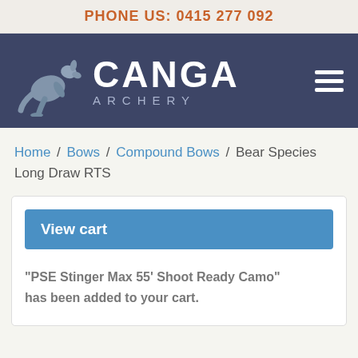PHONE US: 0415 277 092
[Figure (logo): Canga Archery logo with kangaroo silhouette and hamburger menu icon on dark navy background]
Home / Bows / Compound Bows / Bear Species Long Draw RTS
View cart
"PSE Stinger Max 55' Shoot Ready Camo" has been added to your cart.